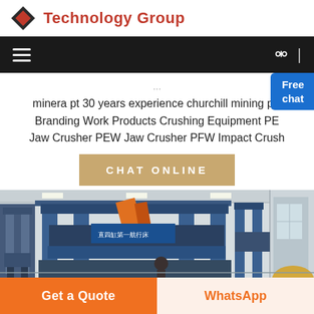Technology Group
[Figure (screenshot): Navigation bar with hamburger menu icon on the left and search icon on the right, dark background]
minera pt 30 years experience churchill mining plc Branding Work Products Crushing Equipment PE Jaw Crusher PEW Jaw Crusher PFW Impact Crush
[Figure (other): Free chat bubble button in blue, showing 'Free chat']
[Figure (other): CHAT ONLINE button in tan/gold color]
[Figure (photo): Factory interior showing large blue industrial machinery (jaw crusher press equipment) with workers, industrial building]
[Figure (other): Bottom bar with 'Get a Quote' orange button on the left and 'WhatsApp' button on the right]